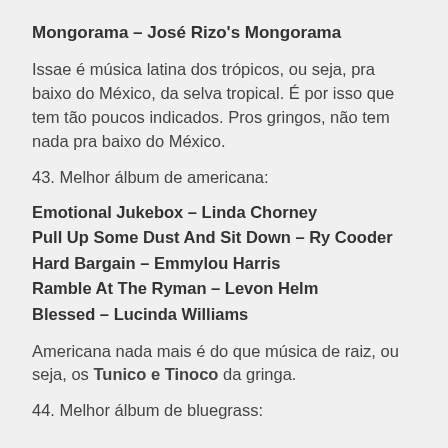Mongorama – José Rizo's Mongorama
Issae é música latina dos trópicos, ou seja, pra baixo do México, da selva tropical. É por isso que tem tão poucos indicados. Pros gringos, não tem nada pra baixo do México.
43. Melhor álbum de americana:
Emotional Jukebox – Linda Chorney
Pull Up Some Dust And Sit Down – Ry Cooder
Hard Bargain – Emmylou Harris
Ramble At The Ryman – Levon Helm
Blessed – Lucinda Williams
Americana nada mais é do que música de raiz, ou seja, os Tunico e Tinoco da gringa.
44. Melhor álbum de bluegrass: